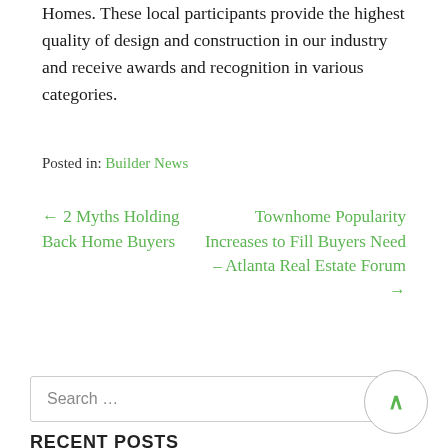Homes. These local participants provide the highest quality of design and construction in our industry and receive awards and recognition in various categories.
Posted in: Builder News
← 2 Myths Holding Back Home Buyers
Townhome Popularity Increases to Fill Buyers Need – Atlanta Real Estate Forum →
Search …
RECENT POSTS